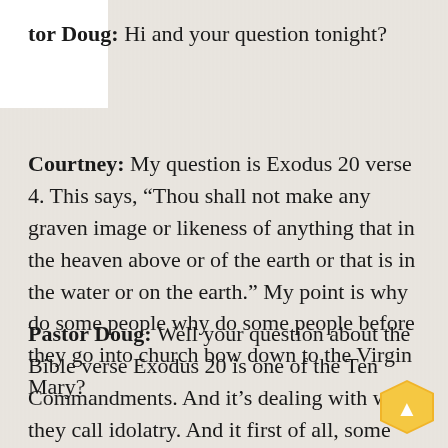Pastor Doug: Hi and your question tonight?
Courtney: My question is Exodus 20 verse 4. This says, “Thou shall not make any graven image or likeness of anything that in the heaven above or of the earth or that is in the water or on the earth.” My point is why do some people why do some people before they go into church bow down to the Virgin Mary?
Pastor Doug: Well your question about the Bible verse Exodus 20 is one of the Ten Commandments. And it’s dealing with what they call idolatry. And it first of all, some people have confused this verse to mean that if you have...